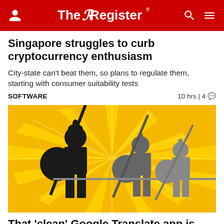The Register
Singapore struggles to curb cryptocurrency enthusiasm
City-state can't beat them, so plans to regulate them, starting with consumer suitability tests
SOFTWARE  10 hrs | 4
[Figure (illustration): Illustration of ancient warrior silhouettes with shields and spears against a yellow sunburst background]
That 'clean' Google Translate app is actually